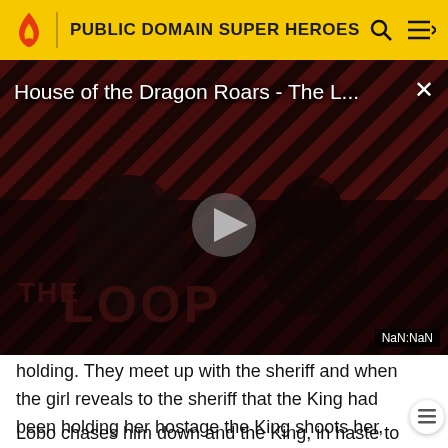PUBLIC DOMAIN SUPER HEROES
[Figure (screenshot): Video player showing 'House of the Dragon Roars - The L...' with a play button overlay, striped red/dark background, silhouetted figures, THE LOOP text watermark, and NaN:NaN timestamp. Close button (×) in top right.]
holding. They meet up with the sheriff and when the girl reveals to the sheriff that the King had been holding her hostage the King shoots her, wounding but not killing her.
Lobo chases him down and the King, in haste to escape, falls into quick sand. Lobo saves the ungrateful King who